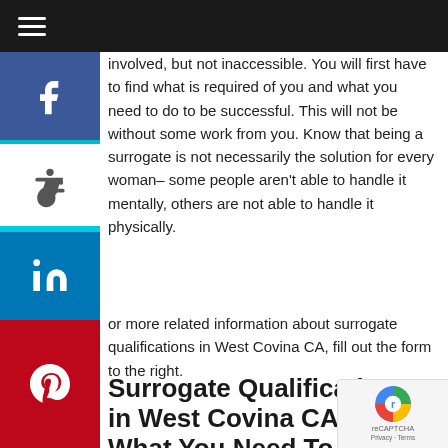Navigation bar with hamburger menu
involved, but not inaccessible. You will first have to find what is required of you and what you need to do to be successful. This will not be without some work from you. Know that being a surrogate is not necessarily the solution for every woman– some people aren't able to handle it mentally, others are not able to handle it physically.
For more related information about surrogate qualifications in West Covina CA, fill out the form to the right.
Surrogate Qualifications in West Covina CA – What You Need To Know
When you look at the surrogate qualifications in West Covina CA, you may feel defeated because there are some regulations and stipulations that were put in place to